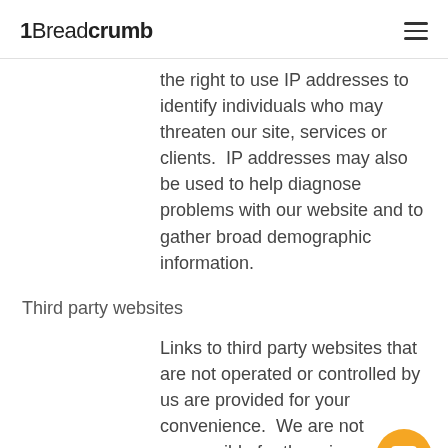1Breadcrumb
the right to use IP addresses to identify individuals who may threaten our site, services or clients.  IP addresses may also be used to help diagnose problems with our website and to gather broad demographic information.
Third party websites
Links to third party websites that are not operated or controlled by us are provided for your convenience.  We are not responsible for the privacy or